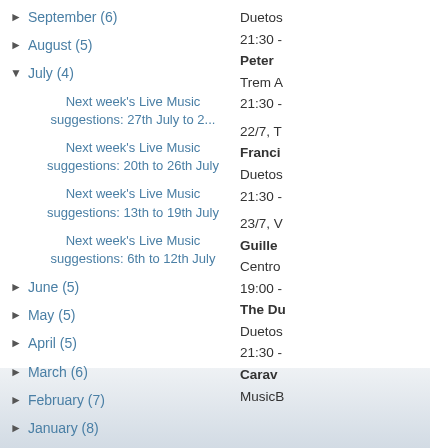► September (6)
► August (5)
▼ July (4)
Next week's Live Music suggestions: 27th July to 2...
Next week's Live Music suggestions: 20th to 26th July
Next week's Live Music suggestions: 13th to 19th July
Next week's Live Music suggestions: 6th to 12th July
► June (5)
► May (5)
► April (5)
► March (6)
► February (7)
► January (8)
Duetos
21:30 -
Peter 
Trem A
21:30 -

22/7, T
Franci
Duetos
21:30 -

23/7, V
Guille
Centro
19:00 -
The Du
Duetos
21:30 -
Carav
MusicB